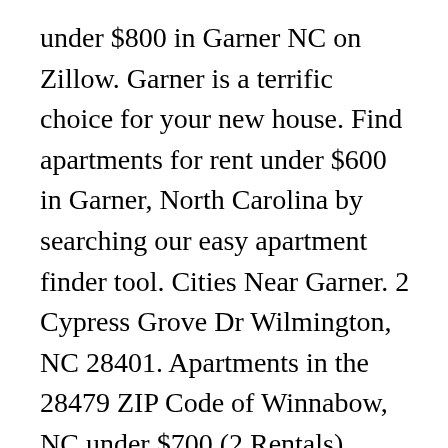under $800 in Garner NC on Zillow. Garner is a terrific choice for your new house. Find apartments for rent under $600 in Garner, North Carolina by searching our easy apartment finder tool. Cities Near Garner. 2 Cypress Grove Dr Wilmington, NC 28401. Apartments in the 28479 ZIP Code of Winnabow, NC under $700 (2 Rentals) close. You can trust Apartments.com to find your next Garner rental under $700. Cypress Grove Apartments. View Me. Apartments for Rent Under $1,500 in Garner, NC . Raleigh Apartments (1,996) Holly Springs Apartments (38) Knightdale Apartments (36) Willow Spring Apartments (63) Morrisville Apartments (124)